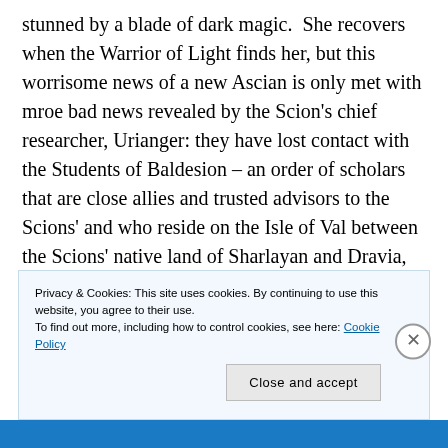stunned by a blade of dark magic.  She recovers when the Warrior of Light finds her, but this worrisome news of a new Ascian is only met with mroe bad news revealed by the Scion's chief researcher, Urianger: they have lost contact with the Students of Baldesion – an order of scholars that are close allies and trusted advisors to the Scions' and who reside on the Isle of Val between the Scions' native land of Sharlayan and Dravia, the homeland of
Privacy & Cookies: This site uses cookies. By continuing to use this website, you agree to their use.
To find out more, including how to control cookies, see here: Cookie Policy
Close and accept